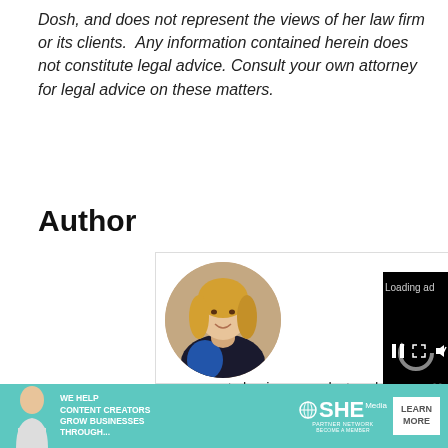Dosh, and does not represent the views of her law firm or its clients.  Any information contained herein does not constitute legal advice. Consult your own attorney for legal advice on these matters.
Author
[Figure (photo): Circular author photo of Kristi Dosh, a blonde woman wearing a blue and black outfit]
Kristi Dosh
Kristi A. Dosh BusinessofCollege... as a sports business analyst and contributor for outlets such as Forbes, ESPN...
[Figure (screenshot): Black video player overlay showing 'Loading ad' text with a spinner, pause button, expand button, and mute button at bottom]
[Figure (infographic): Teal advertisement banner: 'We help content creators grow businesses through...' with SHE Partner Network logo and 'Learn More' button]